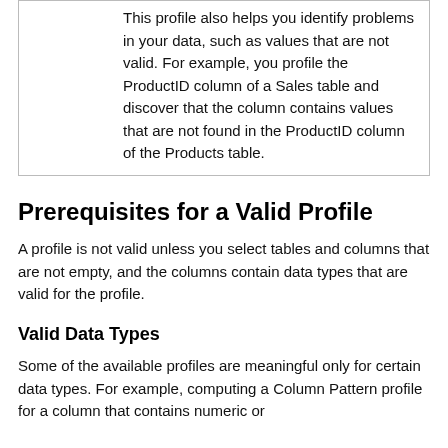This profile also helps you identify problems in your data, such as values that are not valid. For example, you profile the ProductID column of a Sales table and discover that the column contains values that are not found in the ProductID column of the Products table.
Prerequisites for a Valid Profile
A profile is not valid unless you select tables and columns that are not empty, and the columns contain data types that are valid for the profile.
Valid Data Types
Some of the available profiles are meaningful only for certain data types. For example, computing a Column Pattern profile for a column that contains numeric or